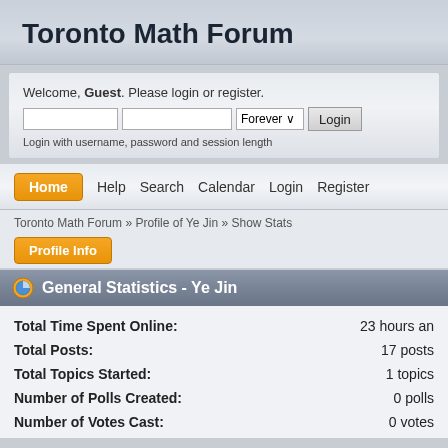Toronto Math Forum
Welcome, Guest. Please login or register.
Login with username, password and session length
Home  Help  Search  Calendar  Login  Register
Toronto Math Forum » Profile of Ye Jin » Show Stats
Profile Info
General Statistics - Ye Jin
| Field | Value |
| --- | --- |
| Total Time Spent Online: | 23 hours an |
| Total Posts: | 17 posts |
| Total Topics Started: | 1 topics |
| Number of Polls Created: | 0 polls |
| Number of Votes Cast: | 0 votes |